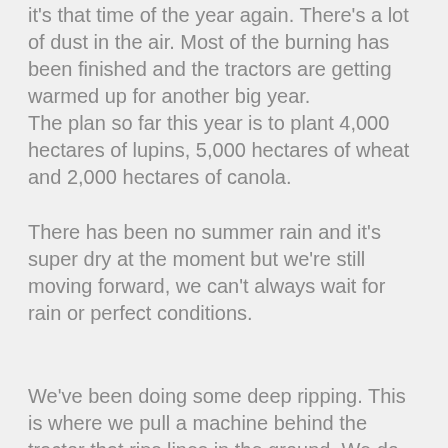it's that time of the year again. There's a lot of dust in the air. Most of the burning has been finished and the tractors are getting warmed up for another big year.
The plan so far this year is to plant 4,000 hectares of lupins, 5,000 hectares of wheat and 2,000 hectares of canola.
There has been no summer rain and it's super dry at the moment but we're still moving forward, we can't always wait for rain or perfect conditions.
We've been doing some deep ripping. This is where we pull a machine behind the tractor that rips lines in the ground. We do this to break up the hard pan which allows the rain    to go deeper into the soil profile. It also encourages the roots of the plants to